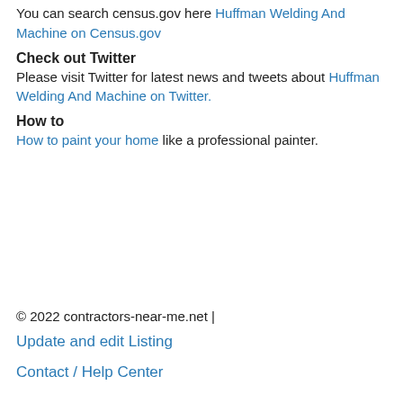You can search census.gov here Huffman Welding And Machine on Census.gov
Check out Twitter
Please visit Twitter for latest news and tweets about Huffman Welding And Machine on Twitter.
How to
How to paint your home like a professional painter.
© 2022 contractors-near-me.net |
Update and edit Listing
Contact / Help Center